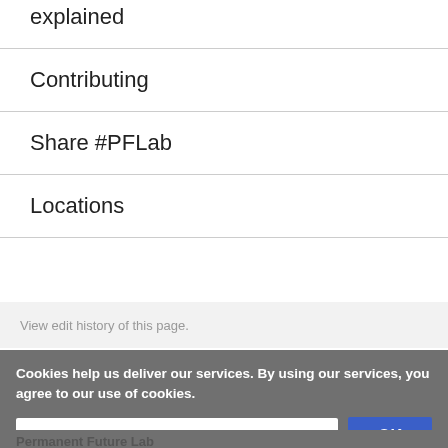explained
Contributing
Share #PFLab
Locations
View edit history of this page.
Cookies help us deliver our services. By using our services, you agree to our use of cookies.
More information
OK
Permanent Future Lab